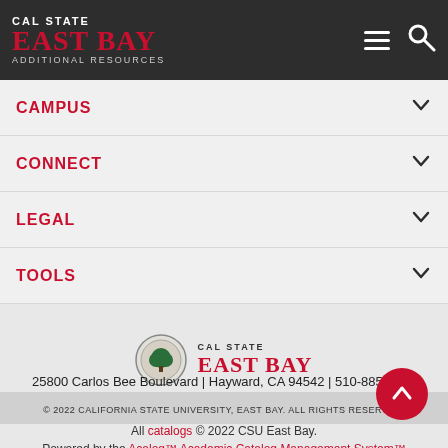[Figure (logo): Cal State East Bay logo with text 'ADDITIONAL RESOURCES' in dark header bar with hamburger menu and search icon]
CAMPUS
CONNECT
LEGAL
TOOLS
[Figure (logo): Cal State East Bay seal and wordmark logo in footer]
25800 Carlos Bee Boulevard | Hayward, CA 94542 | 510-885-3000
© 2022 CALIFORNIA STATE UNIVERSITY, EAST BAY. ALL RIGHTS RESERVED.
All catalogs © 2022 CSU East Bay. Powered by the Acalog™ Academic Catalog Management System™ (ACMS™).